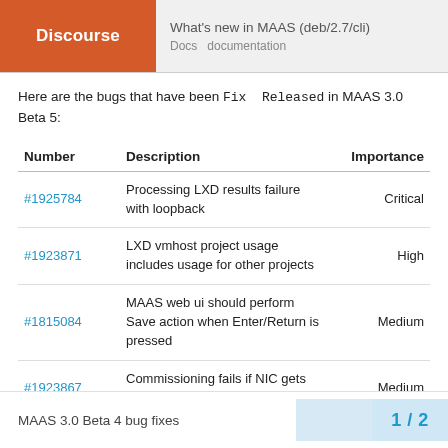Discourse | What's new in MAAS (deb/2.7/cli) | Docs documentation
Here are the bugs that have been Fix Released in MAAS 3.0 Beta 5:
| Number | Description | Importance |
| --- | --- | --- |
| #1925784 | Processing LXD results failure with loopback | Critical |
| #1923871 | LXD vmhost project usage includes usage for other projects | High |
| #1815084 | MAAS web ui should perform Save action when Enter/Return is pressed | Medium |
| #1923867 | Commissioning fails if NIC gets different PCI address | Medium |
MAAS 3.0 Beta 4 bug fixes
1 / 2